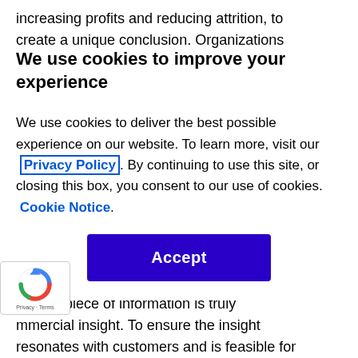increasing profits and reducing attrition, to create a unique conclusion. Organizations
We use cookies to improve your experience
We use cookies to deliver the best possible experience on our website. To learn more, visit our  Privacy Policy . By continuing to use this site, or closing this box, you consent to our use of cookies.  Cookie Notice .
[Figure (other): Blue Accept button for cookie consent modal]
a general level, it's much harder to determine whether a piece of information is truly commercial insight. To ensure the insight resonates with customers and is feasible for
[Figure (other): Google reCAPTCHA Privacy - Terms badge, bottom left]